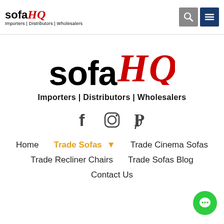[Figure (logo): SofaHQ logo in header — 'sofa' in bold black, 'HQ' in red italic script, with tagline 'Importers | Distributors | Wholesalers' below]
[Figure (logo): Large SofaHQ logo centered — 'sofa' in bold black large font, 'HQ' in large red italic script]
Importers | Distributors | Wholesalers
[Figure (infographic): Social media icons: Facebook, Instagram, Pinterest in dark grey]
Home   Trade Sofas ▾   Trade Cinema Sofas
Trade Recliner Chairs   Trade Sofas Blog
Contact Us